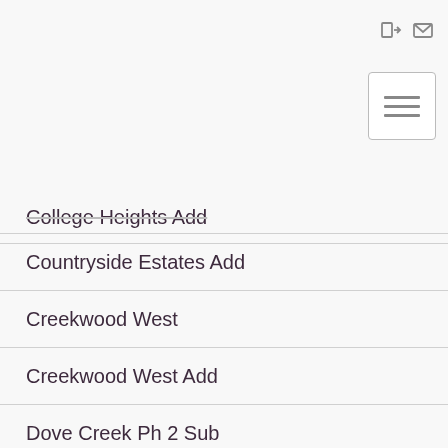[login icon] [mail icon]
College Heights Add
Countryside Estates Add
Creekwood West
Creekwood West Add
Dove Creek Ph 2 Sub
Dove Crossing
Dove Landing Add
Glade Crossing 1a & 1b